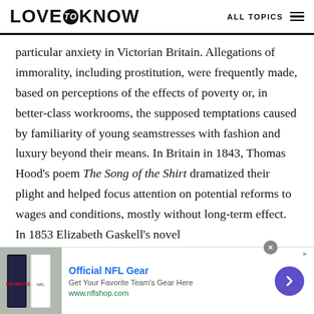LOVE to KNOW — ALL TOPICS
particular anxiety in Victorian Britain. Allegations of immorality, including prostitution, were frequently made, based on perceptions of the effects of poverty or, in better-class workrooms, the supposed temptations caused by familiarity of young seamstresses with fashion and luxury beyond their means. In Britain in 1843, Thomas Hood's poem The Song of the Shirt dramatized their plight and helped focus attention on potential reforms to wages and conditions, mostly without long-term effect. In 1853 Elizabeth Gaskell's novel
[Figure (other): Advertisement banner for Official NFL Gear showing NFL jerseys image, text 'Official NFL Gear', 'Get Your Favorite Team's Gear Here', 'www.nflshop.com', with a purple arrow button and close button]